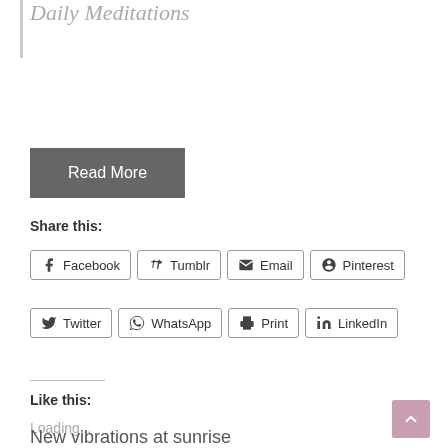Daily Meditations
Read More
Share this:
Facebook
Tumblr
Email
Pinterest
Twitter
WhatsApp
Print
LinkedIn
Like this:
Loading...
New vibrations at sunrise